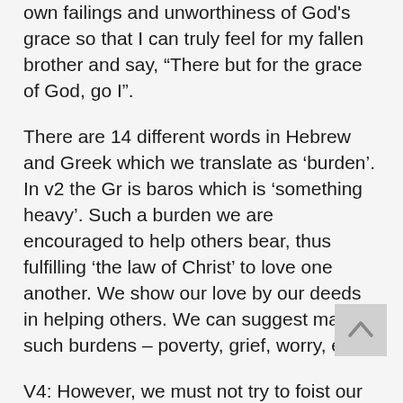own failings and unworthiness of God's grace so that I can truly feel for my fallen brother and say, “There but for the grace of God, go I”.
There are 14 different words in Hebrew and Greek which we translate as ‘burden’. In v2 the Gr is baros which is ‘something heavy’. Such a burden we are encouraged to help others bear, thus fulfilling ‘the law of Christ’ to love one another. We show our love by our deeds in helping others. We can suggest many such burdens – poverty, grief, worry, etc.
V4: However, we must not try to foist our burdens on another – and claim from them what they should be offering